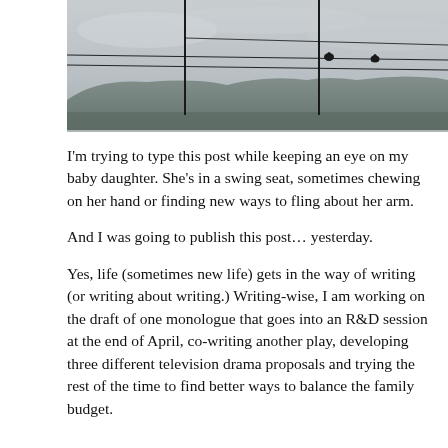[Figure (photo): A grey overcast sky with low hills on the horizon. Two telegraph/utility poles with wires strung between them. Two small dark bird silhouettes perched on the wires, one near the center-right and one further right. Landscape is bleak and misty.]
I'm trying to type this post while keeping an eye on my baby daughter. She's in a swing seat, sometimes chewing on her hand or finding new ways to fling about her arm.
And I was going to publish this post… yesterday.
Yes, life (sometimes new life) gets in the way of writing (or writing about writing.) Writing-wise, I am working on the draft of one monologue that goes into an R&D session at the end of April, co-writing another play, developing three different television drama proposals and trying the rest of the time to find better ways to balance the family budget.